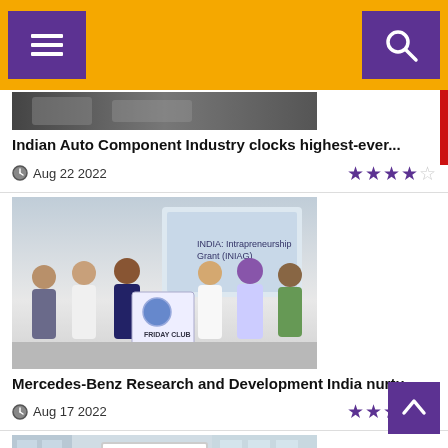Navigation bar with menu and search
[Figure (photo): Partial top image of automotive article (partially visible)]
Indian Auto Component Industry clocks highest-ever...
Aug 22 2022  ★★★★☆
[Figure (photo): Group of people at Mercedes-Benz Research and Development India entrepreneurship event, holding a banner with logos]
Mercedes-Benz Research and Development India nurtu...
Aug 17 2022  ★★★★☆
[Figure (photo): Partial view of Mahindra building exterior with M logo sign]